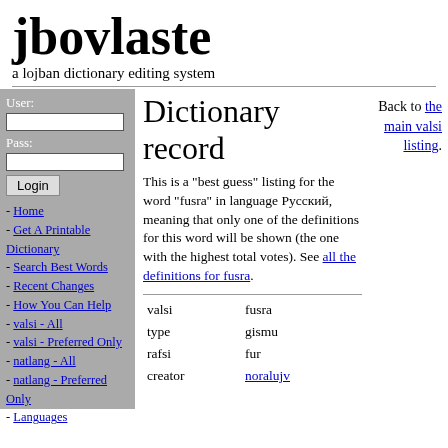jbovlaste
a lojban dictionary editing system
User:
Pass:
Login
- Home
- Get A Printable Dictionary
- Search Best Words
- Recent Changes
- How You Can Help
- valsi - All
- valsi - Preferred Only
- natlang - All
- natlang - Preferred Only
- Languages
Dictionary record
Back to the main valsi listing.
This is a "best guess" listing for the word "fusra" in language Русский, meaning that only one of the definitions for this word will be shown (the one with the highest total votes). See all the definitions for fusra.
| Field | Value |
| --- | --- |
| valsi | fusra |
| type | gismu |
| rafsi | fur |
| creator | noralujv |